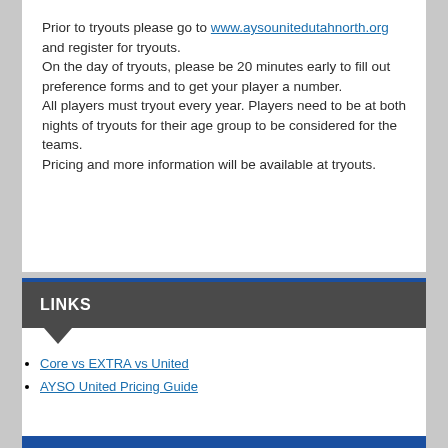Prior to tryouts please go to www.aysounitedutahnorth.org and register for tryouts.
On the day of tryouts, please be 20 minutes early to fill out preference forms and to get your player a number.
All players must tryout every year. Players need to be at both nights of tryouts for their age group to be considered for the teams.
Pricing and more information will be available at tryouts.
LINKS
Core vs EXTRA vs United
AYSO United Pricing Guide